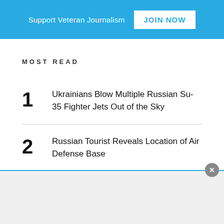Support Veteran Journalism JOIN NOW
MOST READ
1 Ukrainians Blow Multiple Russian Su-35 Fighter Jets Out of the Sky
2 Russian Tourist Reveals Location of Air Defense Base